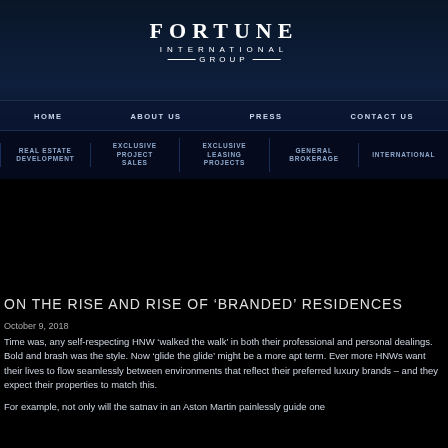[Figure (logo): Fortune International Group logo with lines around GROUP text]
HOME   ABOUT US   PRESS   CONTACT US
REAL ESTATE DEVELOPMENT | EXCLUSIVE PROJECT SALES | EXCLUSIVE LEASING PROJECTS | GENERAL BROKERAGE | INTERNATIONAL
ON THE RISE AND RISE OF 'BRANDED' RESIDENCES
October 9, 2018
Time was, any self-respecting HNW 'walked the walk' in both their professional and personal dealings. Bold and brash was the style. Now 'glide the glide' might be a more apt term. Ever more HNWs want their lives to flow seamlessly between environments that reflect their preferred luxury brands – and they expect their properties to match this.
For example, not only will the satnav in an Aston Martin painlessly guide one